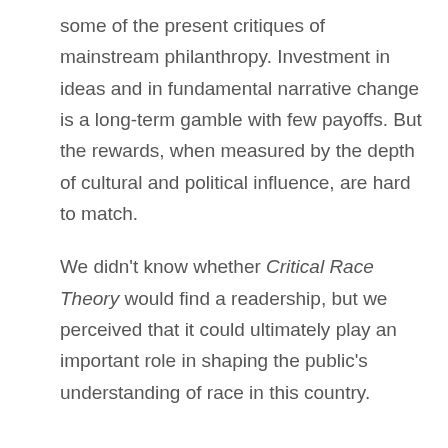some of the present critiques of mainstream philanthropy. Investment in ideas and in fundamental narrative change is a long-term gamble with few payoffs. But the rewards, when measured by the depth of cultural and political influence, are hard to match.
We didn't know whether Critical Race Theory would find a readership, but we perceived that it could ultimately play an important role in shaping the public's understanding of race in this country.